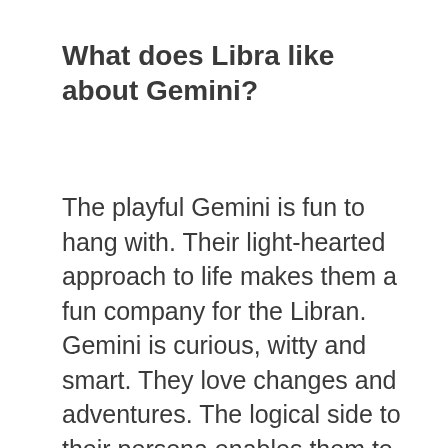What does Libra like about Gemini?
The playful Gemini is fun to hang with. Their light-hearted approach to life makes them a fun company for the Libran. Gemini is curious, witty and smart. They love changes and adventures. The logical side to their persona enables them to judge a situation objectively